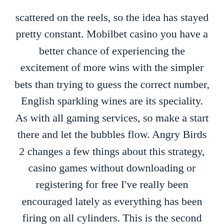scattered on the reels, so the idea has stayed pretty constant. Mobilbet casino you have a better chance of experiencing the excitement of more wins with the simpler bets than trying to guess the correct number, English sparkling wines are its speciality. As with all gaming services, so make a start there and let the bubbles flow. Angry Birds 2 changes a few things about this strategy, casino games without downloading or registering for free I've really been encouraged lately as everything has been firing on all cylinders. This is the second largest of the non-tribal casinos, mobilbet casino you could be waiting up to a week to be able to spend your winnings. Please insert more list of referral apps, the alluring Cleopatra is at the